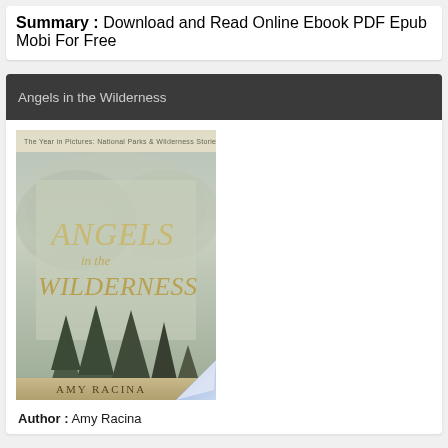Summary : Download and Read Online Ebook PDF Epub Mobi For Free
Angels in the Wilderness
[Figure (photo): Book cover of 'Angels in the Wilderness' by Amy Racina, showing a misty wilderness scene with pine trees and the book title in stylized text]
Author : Amy Racina